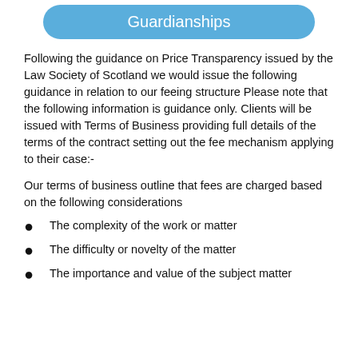Guardianships
Following the guidance on Price Transparency issued by the Law Society of Scotland we would issue the following guidance in relation to our feeing structure Please note that the following information is guidance only. Clients will be issued with Terms of Business providing full details of the terms of the contract setting out the fee mechanism applying to their case:-
Our terms of business outline that fees are charged based on the following considerations
The complexity of the work or matter
The difficulty or novelty of the matter
The importance and value of the subject matter